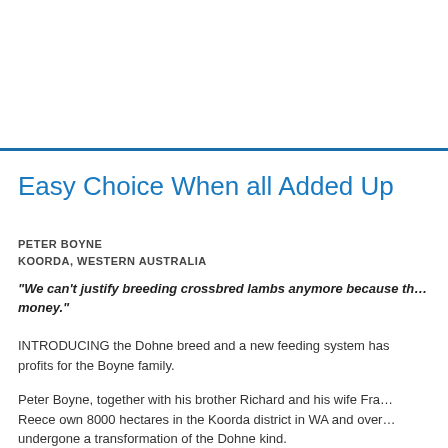Easy Choice When all Added Up
PETER BOYNE
KOORDA, WESTERN AUSTRALIA
"We can't justify breeding crossbred lambs anymore because th… money."
INTRODUCING the Dohne breed and a new feeding system has profits for the Boyne family.
Peter Boyne, together with his brother Richard and his wife Fra… Reece own 8000 hectares in the Koorda district in WA and over… undergone a transformation of the Dohne kind.